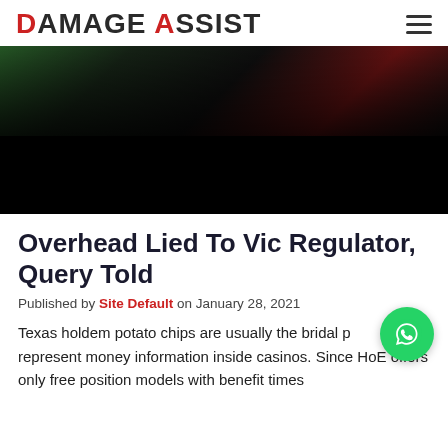DAMAGE ASSIST
[Figure (photo): Dark hero image of a car interior/exterior with red and green lighting, mostly black overlay]
Overhead Lied To Vic Regulator, Query Told
Published by Site Default on January 28, 2021
Texas holdem potato chips are usually the bridal p... used to represent money information inside casinos. Since HoE offers only free position models with benefit times...